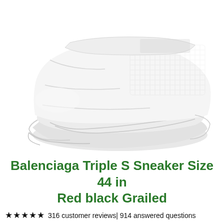[Figure (photo): Close-up photo of a white Balenciaga Triple S sneaker showing the chunky layered sole and mesh/leather upper with velcro strap, against a white background.]
Balenciaga Triple S Sneaker Size 44 in Red black Grailed
★★★★★ 316 customer reviews| 914 answered questions